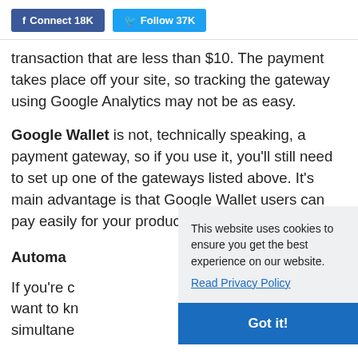f Connect 18K   Follow 37K
transaction that are less than $10. The payment takes place off your site, so tracking the gateway using Google Analytics may not be as easy.
Google Wallet is not, technically speaking, a payment gateway, so if you use it, you'll still need to set up one of the gateways listed above. It's main advantage is that Google Wallet users can pay easily for your products.
Automa
If you're c want to kn simultane
This website uses cookies to ensure you get the best experience on our website.
Read Privacy Policy
Got it!